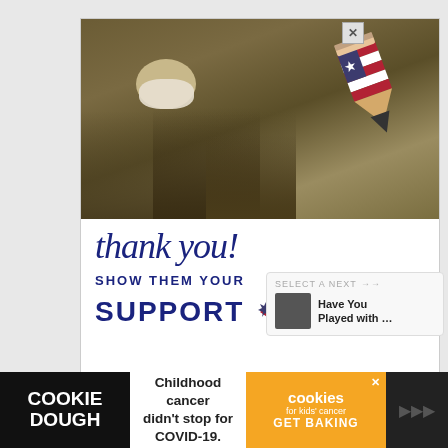[Figure (photo): Advertisement showing military soldiers in camouflage uniforms and face masks looking at papers, with a decorative patriotic pencil graphic featuring US flag colors (red/white/blue with star) in the upper right. Below is white space with cursive 'thank you!' text in dark navy, and text reading 'SHOW THEM YOUR SUPPORT' with 'OPERATION GRATITUDE' logo.]
[Figure (photo): Bottom banner advertisement for Cookie Dough / Cookies for Kids Cancer. Left section black with 'COOKIE DOUGH' text, middle section white with 'Childhood cancer didn't stop for COVID-19.' text, right section orange with 'cookies for kids cancer GET BAKING' text.]